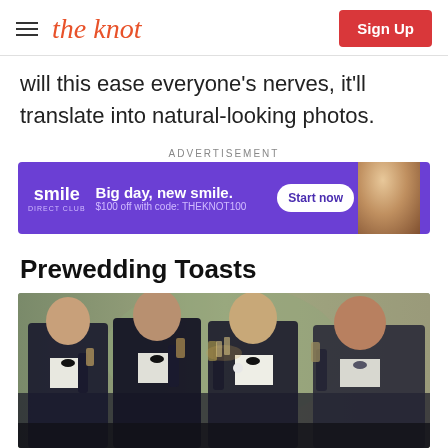the knot | Sign Up
will this ease everyone's nerves, it'll translate into natural-looking photos.
ADVERTISEMENT
[Figure (photo): SmileDirectClub advertisement banner with purple background. Text: 'smile DIRECT CLUB — Big day, new smile. $100 off with code: THEKNOT100 — Start now']
Prewedding Toasts
[Figure (photo): Four men in black tuxedos with bow ties raising glasses in a toast. They are smiling and standing in front of a decorative mural background.]